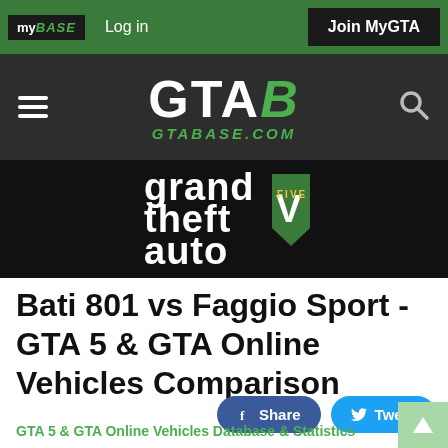my BASE  Log in  Join MyGTA
[Figure (logo): GTAB GTABASE.COM logo with hamburger menu and search icon on dark background]
[Figure (logo): Grand Theft Auto V logo on black background]
Bati 801 vs Faggio Sport - GTA 5 & GTA Online Vehicles Comparison
GTA 5 & GTA Online Vehicles Database & Statistics